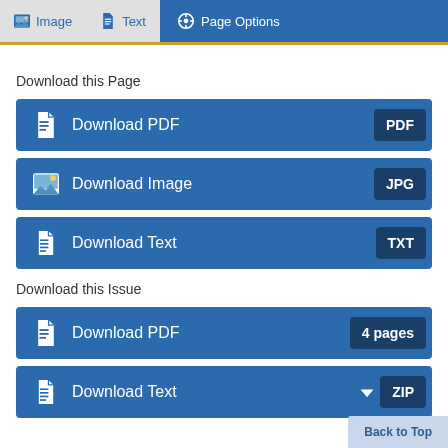Image  Text  Page Options
Download this Page
Download PDF  PDF
Download Image  JPG
Download Text  TXT
Download this Issue
Download PDF  4 pages
Download Text  ZIP
Back to Top